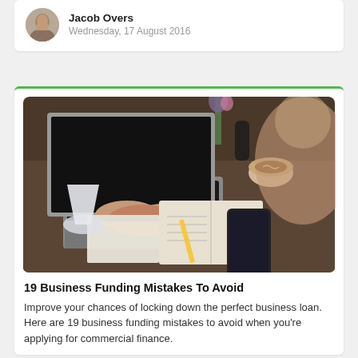Jacob Overs
Wednesday, 17 August 2016
[Figure (photo): Person typing on a laptop at a desk with an open notebook, smartphone, and coffee cup. A blurred figure is visible in the background.]
19 Business Funding Mistakes To Avoid
Improve your chances of locking down the perfect business loan. Here are 19 business funding mistakes to avoid when you're applying for commercial finance.